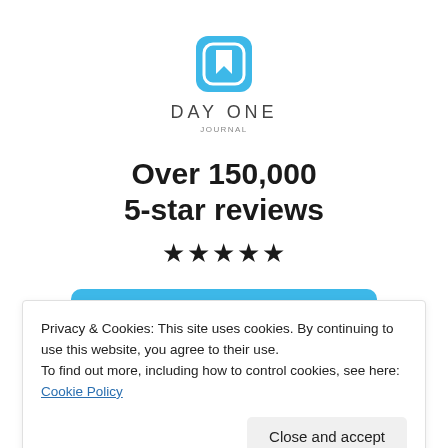[Figure (logo): Day One Journal app logo: light blue rounded square with a white bookmark/ribbon icon inside]
DAY ONE
JOURNAL
Over 150,000
5-star reviews
★★★★★
Get the app
Privacy & Cookies: This site uses cookies. By continuing to use this website, you agree to their use.
To find out more, including how to control cookies, see here: Cookie Policy
Close and accept